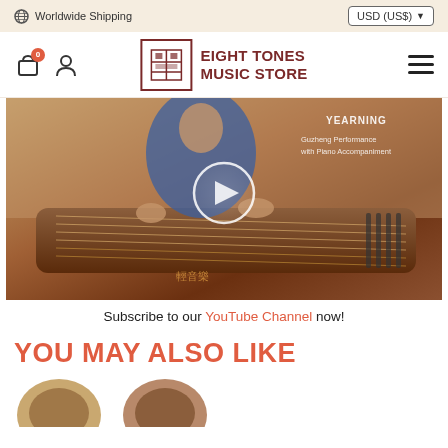Worldwide Shipping | USD (US$)
[Figure (logo): Eight Tones Music Store logo with cart icon, user icon, and hamburger menu]
[Figure (photo): Photo of a woman in traditional Chinese dress playing a guzheng (Chinese zither), with text overlay: YEARNING, Guzheng Performance with Piano Accompaniment, and a circular play button]
Subscribe to our YouTube Channel now!
YOU MAY ALSO LIKE
[Figure (photo): Partial product thumbnail circles at the bottom of the page]